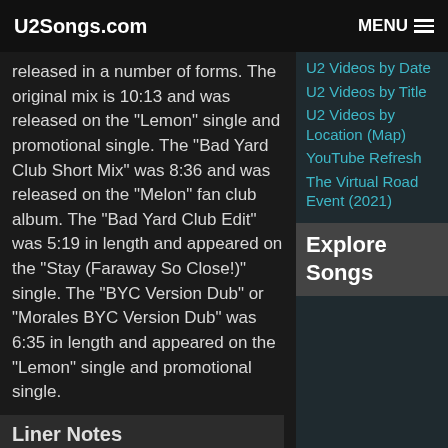U2Songs.com  MENU
released in a number of forms. The original mix is 10:13 and was released on the “Lemon” single and promotional single. The “Bad Yard Club Short Mix” was 8:36 and was released on the “Melon” fan club album. The “Bad Yard Club Edit” was 5:19 in length and appeared on the “Stay (Faraway So Close!)” single. The “BYC Version Dub” or “Morales BYC Version Dub” was 6:35 in length and appeared on the “Lemon” single and promotional single.
Liner Notes
U2 – Lemon (Bad Yard Club Mix)
Music: U2. Words: Bono. From the Island release “Zooropa”, 314518047-4/2